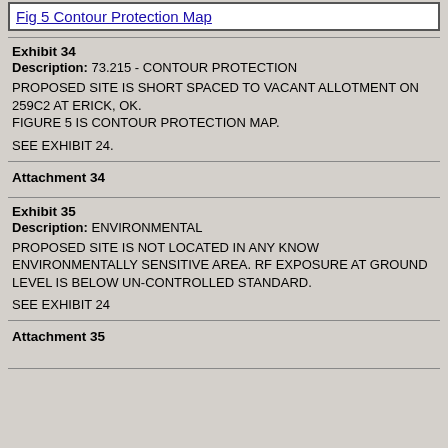Fig 5 Contour Protection Map
Exhibit 34
Description: 73.215 - CONTOUR PROTECTION
PROPOSED SITE IS SHORT SPACED TO VACANT ALLOTMENT ON 259C2 AT ERICK, OK.
FIGURE 5 IS CONTOUR PROTECTION MAP.
SEE EXHIBIT 24.
Attachment 34
Exhibit 35
Description: ENVIRONMENTAL
PROPOSED SITE IS NOT LOCATED IN ANY KNOW ENVIRONMENTALLY SENSITIVE AREA. RF EXPOSURE AT GROUND LEVEL IS BELOW UN-CONTROLLED STANDARD.
SEE EXHIBIT 24
Attachment 35